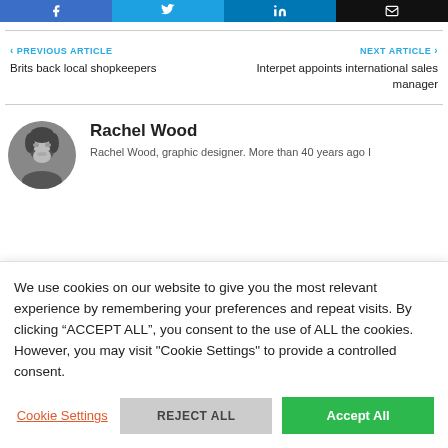[Figure (other): Social media share buttons: Facebook (blue), Twitter (blue), LinkedIn (blue), Email (black)]
< PREVIOUS ARTICLE
Brits back local shopkeepers
NEXT ARTICLE >
Interpet appoints international sales manager
[Figure (photo): Black and white circular portrait photo of Rachel Wood]
Rachel Wood
Rachel Wood, graphic designer. More than 40 years ago I...
We use cookies on our website to give you the most relevant experience by remembering your preferences and repeat visits. By clicking “ACCEPT ALL”, you consent to the use of ALL the cookies. However, you may visit "Cookie Settings" to provide a controlled consent.
Cookie Settings   REJECT ALL   Accept All